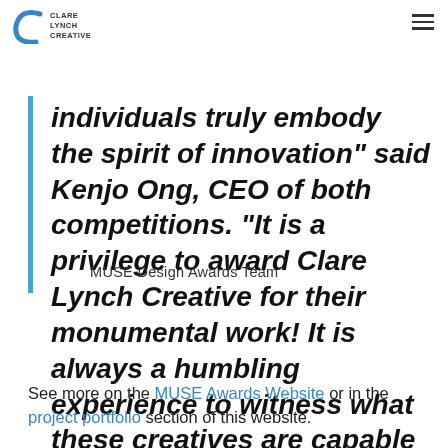Clare Lynch Creative
creative and design professionals of various industries. “These
individuals truly embody the spirit of innovation” said Kenjo Ong, CEO of both competitions. “It is a privilege to award Clare Lynch Creative for their monumental work! It is always a humbling experience to witness what these creatives are capable of.”
MUSE Design Awards Team
See more on the MUSE Awards Website or in the project portfolio section of this website.